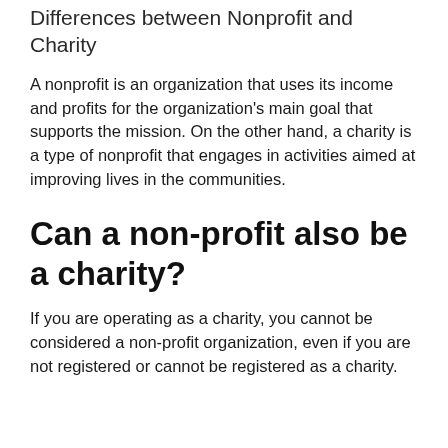Differences between Nonprofit and Charity
A nonprofit is an organization that uses its income and profits for the organization’s main goal that supports the mission. On the other hand, a charity is a type of nonprofit that engages in activities aimed at improving lives in the communities.
Can a non-profit also be a charity?
If you are operating as a charity, you cannot be considered a non-profit organization, even if you are not registered or cannot be registered as a charity.